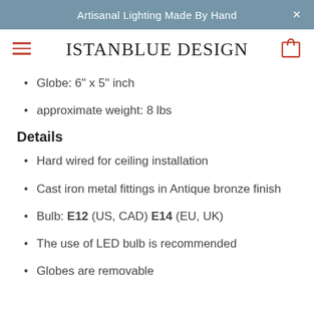Artisanal Lighting Made By Hand
ISTANBLUE DESIGN
Globe: 6" x 5" inch
approximate weight: 8 lbs
Details
Hard wired for ceiling installation
Cast iron metal fittings in Antique bronze finish
Bulb: E12 (US, CAD) E14 (EU, UK)
The use of LED bulb is recommended
Globes are removable